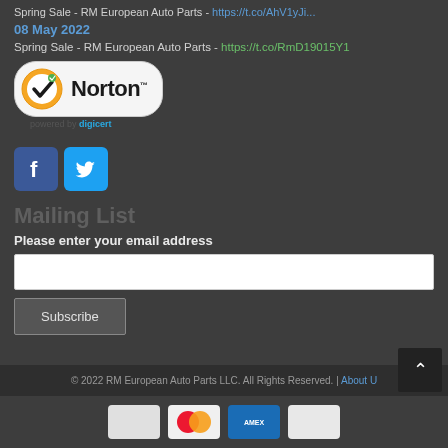Spring Sale - RM European Auto Parts - https://t.co/RmD19015Y1 (date line cut off at top)
08 May 2022
Spring Sale - RM European Auto Parts - https://t.co/RmD19015Y1
[Figure (logo): Norton Security badge - checkmark logo with 'Norton' text, 'powered by digicert' below]
[Figure (other): Facebook and Twitter social media icon buttons]
Mailing List
Please enter your email address
Subscribe (button)
© 2022 RM European Auto Parts LLC. All Rights Reserved. | About U
[Figure (other): Payment card icons: Mastercard, American Express, and other cards]